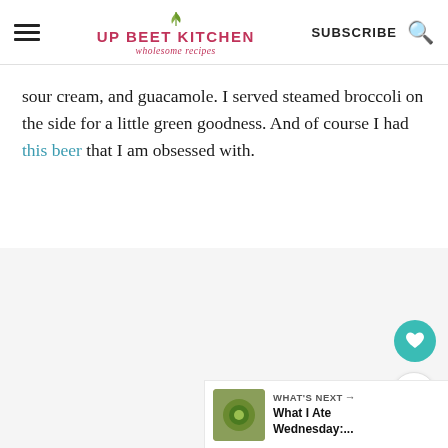UP BEET KITCHEN wholesome recipes | SUBSCRIBE
sour cream, and guacamole. I served steamed broccoli on the side for a little green goodness. And of course I had this beer that I am obsessed with.
[Figure (screenshot): Light gray content placeholder area with floating circular heart and share buttons on the right side, and a 'What's Next' panel in the bottom right corner showing a food image thumbnail and text 'What I Ate Wednesday:...']